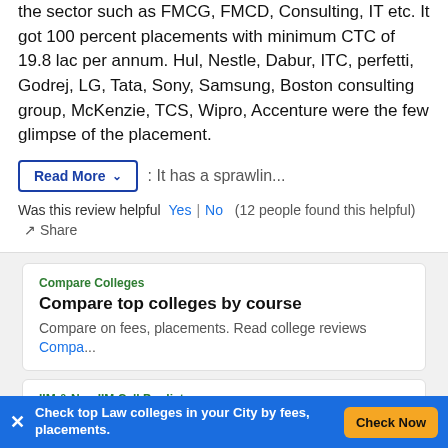the sector such as FMCG, FMCD, Consulting, IT etc. It got 100 percent placements with minimum CTC of 19.8 lac per annum. Hul, Nestle, Dabur, ITC, perfetti, Godrej, LG, Tata, Sony, Samsung, Boston consulting group, McKenzie, TCS, Wipro, Accenture were the few glimpse of the placement.
Read More ∨   : It has a sprawlin...
Was this review helpful Yes | No  (12 people found this helpful)  ↗ Share
Compare Colleges
Compare top colleges by course
Compare on fees, placements. Read college reviews Compa...
IIM & Non IIM Call Predictor
Predict your MBA college from 250+ colleges
Predict eligibility for calls & check
Ask anything about XLRI
Ask Now
Check top Law colleges in your City by fees, placements.
Check Now